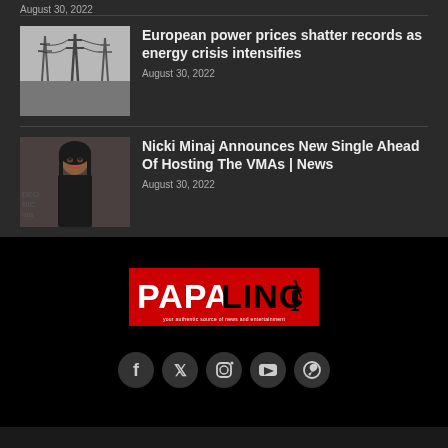August 30, 2022
[Figure (photo): Power lines and electrical transmission towers against grey sky]
European power prices shatter records as energy crisis intensifies
August 30, 2022
[Figure (photo): Nicki Minaj portrait photo]
Nicki Minaj Announces New Single Ahead Of Hosting The VMAs | News
August 30, 2022
[Figure (logo): PAPALINC logo - red background with white and black text, tagline: your authentic source of news and entertainment]
[Figure (infographic): Social media icons: Facebook, Twitter, Instagram, YouTube, WhatsApp in dark circular buttons]